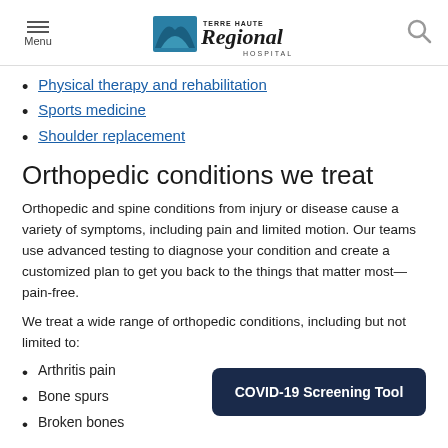Menu | Terre Haute Regional Hospital | Search
Physical therapy and rehabilitation
Sports medicine
Shoulder replacement
Orthopedic conditions we treat
Orthopedic and spine conditions from injury or disease cause a variety of symptoms, including pain and limited motion. Our teams use advanced testing to diagnose your condition and create a customized plan to get you back to the things that matter most—pain-free.
We treat a wide range of orthopedic conditions, including but not limited to:
Arthritis pain
Bone spurs
Broken bones